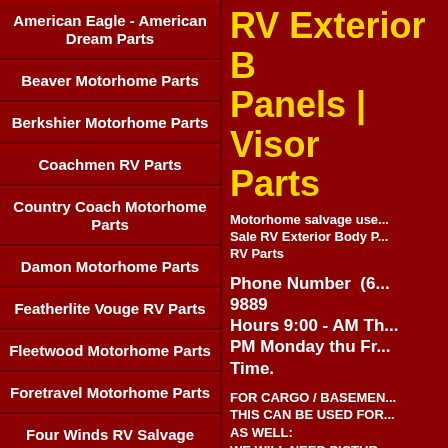American Eagle - American Dream Parts
Beaver Motorhome Parts
Berkshier Motorhome Parts
Coachmen RV Parts
Country Coach Motorhome Parts
Damon Motorhome Parts
Featherlite Vouge RV Parts
Fleetwood Motorhome Parts
Foretravel Motorhome Parts
Four Winds RV Salvage Parts
Geogetown Motorhome Parts
RV Exterior Body Panels | Visor Parts
Motorhome salvage used For Sale RV Exterior Body Panels RV Parts
Phone Number  (6... 9889
Hours 9:00 - AM Th... PM Monday thu Fr... Time.
FOR CARGO / BASEMENT... THIS CAN BE USED FOR... AS WELL:
WE WILL NEED PICTUR...